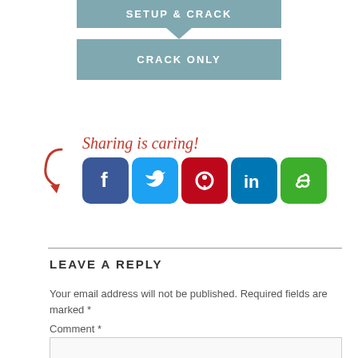[Figure (screenshot): Two download buttons: 'SETUP & CRACK' and 'CRACK ONLY' in teal/blue-gray color with a downward notch between them]
[Figure (infographic): Sharing is caring! text in red italic with arrow, followed by social media icons: Facebook, Twitter, Pinterest, LinkedIn, and another green icon]
LEAVE A REPLY
Your email address will not be published. Required fields are marked *
Comment *